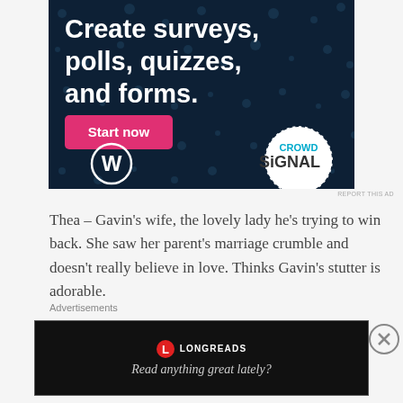[Figure (screenshot): Advertisement banner for Crowdsignal/WordPress: dark navy background with polka dot pattern. Large white bold text reads 'Create surveys, polls, quizzes, and forms.' A pink/magenta 'Start now' button is shown. WordPress logo (W in circle) at bottom left. Crowdsignal logo in dashed circle at bottom right.]
REPORT THIS AD
Thea – Gavin's wife, the lovely lady he's trying to win back. She saw her parent's marriage crumble and doesn't really believe in love. Thinks Gavin's stutter is adorable.
Liv – Thea's sister. Has no use for love, men, or broken
Advertisements
[Figure (screenshot): Longreads advertisement bar: black background with border, Longreads logo (red circle with L), site name LONGREADS, tagline 'Read anything great lately?']